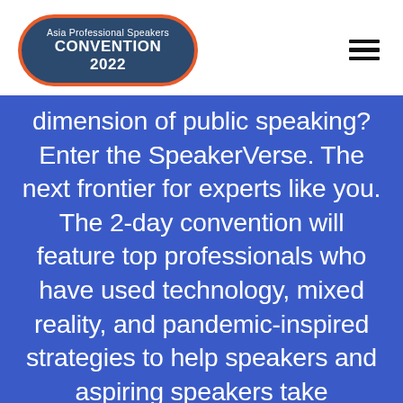[Figure (logo): Asia Professional Speakers Convention 2022 logo badge — dark blue pill shape with orange border, white text]
dimension of public speaking? Enter the SpeakerVerse. The next frontier for experts like you. The 2-day convention will feature top professionals who have used technology, mixed reality, and pandemic-inspired strategies to help speakers and aspiring speakers take